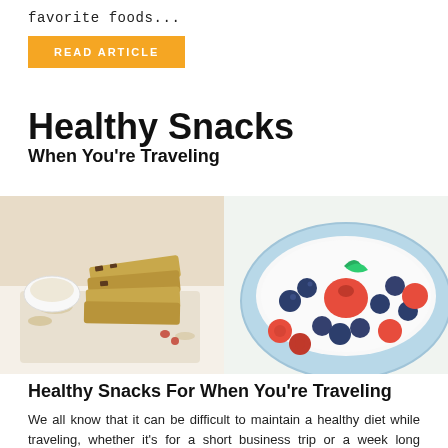favorite foods...
READ ARTICLE
Healthy Snacks
When You're Traveling
[Figure (photo): Two food photos side by side: left shows granola/cereal bars stacked on a white cutting board with oats and dried fruit; right shows a blue bowl of yogurt topped with fresh strawberries, raspberries, blueberries, and mint leaves.]
Healthy Snacks For When You're Traveling
We all know that it can be difficult to maintain a healthy diet while traveling, whether it's for a short business trip or a week long vacation. Unfortunately when you travel you do not often have access to your own kitchen and meal prepping equipment so you